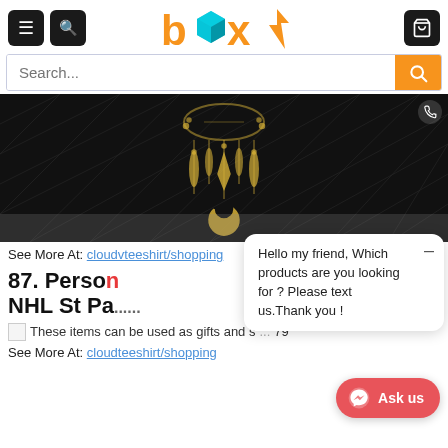[Figure (screenshot): E-commerce website header with hamburger menu, search icon, 'box' logo in orange, and cart icon on black buttons]
[Figure (photo): Black quilted blanket/throw with gold dreamcatcher design featuring feathers, crystals, and crescent moon displayed on a surface]
See More At: cloudvteeshirt/shopping
Hello my friend, Which products are you looking for ? Please text us.Thank you !
87. Person... NHL St Pa... ...you Sunny, no...
These items can be used as gifts and s... 79
See More At: cloudteeshirt/shopping